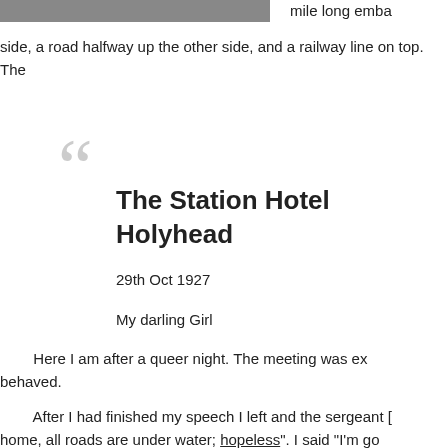[Figure (photo): Partial view of a photograph at the top of the page, cropped]
mile long emba
side, a road halfway up the other side, and a railway line on top. The
The Station Hotel
Holyhead
29th Oct 1927
My darling Girl
Here I am after a queer night. The meeting was ex behaved.
After I had finished my speech I left and the sergeant [ home, all roads are under water; hopeless". I said "I'm go road? By Bethgelert or Portmadoc? He said "Portmadoc". I